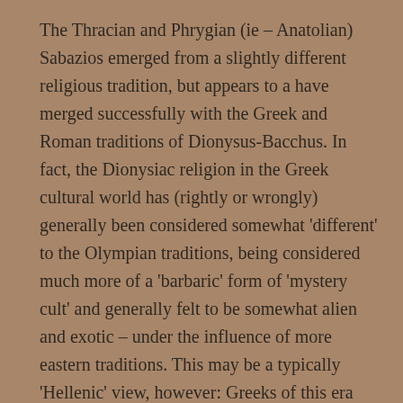The Thracian and Phrygian (ie – Anatolian) Sabazios emerged from a slightly different religious tradition, but appears to a have merged successfully with the Greek and Roman traditions of Dionysus-Bacchus. In fact, the Dionysiac religion in the Greek cultural world has (rightly or wrongly) generally been considered somewhat 'different' to the Olympian traditions, being considered much more of a 'barbaric' form of 'mystery cult' and generally felt to be somewhat alien and exotic – under the influence of more eastern traditions. This may be a typically 'Hellenic' view, however: Greeks of this era (5thC BCE > early Common Era) had a tendency to deride their own 'primitive' past and consign such aspects of their indigenous cultural history to the 'barbaric' world of Thrace, Phrygia and (of course) the 'Celts'. The explosion of Hellenic influence and the rise of